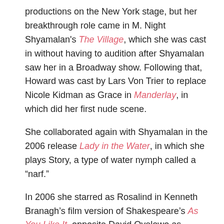productions on the New York stage, but her breakthrough role came in M. Night Shyamalan's The Village, which she was cast in without having to audition after Shyamalan saw her in a Broadway show. Following that, Howard was cast by Lars Von Trier to replace Nicole Kidman as Grace in Manderlay, in which did her first nude scene.
She collaborated again with Shyamalan in the 2006 release Lady in the Water, in which she plays Story, a type of water nymph called a "narf."
In 2006 she starred as Rosalind in Kenneth Branagh's film version of Shakespeare's As You Like It, opposite David Oyelowo as Orlando. The film played theatres in Europe, but went directly to cable. Bryce was nominated for a Golden Globe Award for her performance.
Later in 2006, Bryce married Seth Gabel (Dirty Sexy Money) in